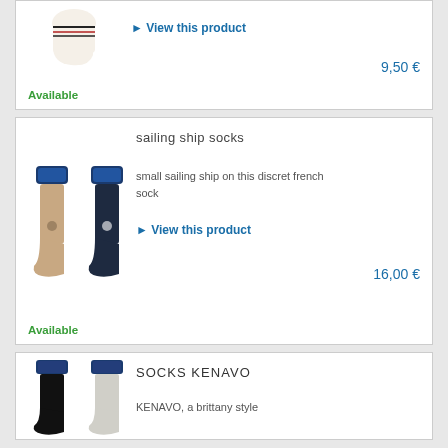[Figure (photo): Socks product image, striped white/cream sock with dark stripes]
▶ View this product
9,50 €
Available
sailing ship socks
small sailing ship on this discret french sock
[Figure (photo): Two sailing ship socks products — beige and dark navy versions with sailing ship motif]
▶ View this product
16,00 €
Available
SOCKS KENAVO
[Figure (photo): Two Kenavo socks products — black and light grey versions]
KENAVO, a brittany style